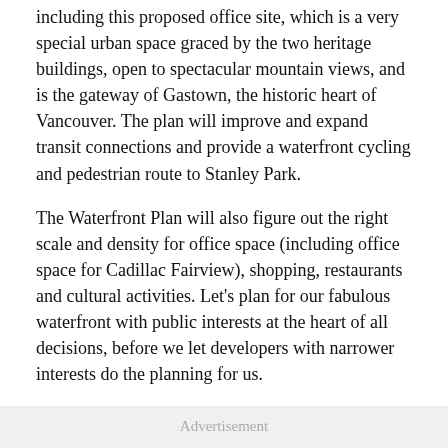including this proposed office site, which is a very special urban space graced by the two heritage buildings, open to spectacular mountain views, and is the gateway of Gastown, the historic heart of Vancouver. The plan will improve and expand transit connections and provide a waterfront cycling and pedestrian route to Stanley Park.
The Waterfront Plan will also figure out the right scale and density for office space (including office space for Cadillac Fairview), shopping, restaurants and cultural activities. Let's plan for our fabulous waterfront with public interests at the heart of all decisions, before we let developers with narrower interests do the planning for us.
Christina DeMarco,
Vancouver
Advertisement